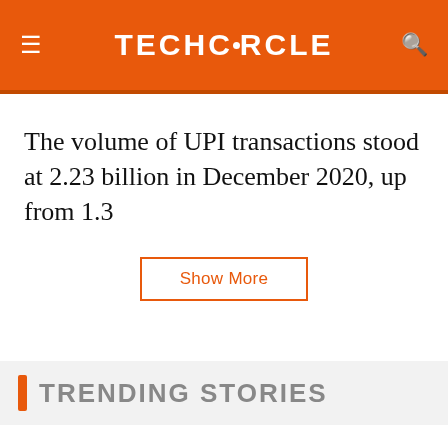TECHCIRCLE
The volume of UPI transactions stood at 2.23 billion in December 2020, up from 1.3
Show More
TRENDING STORIES
[Figure (other): Loading spinner animation]